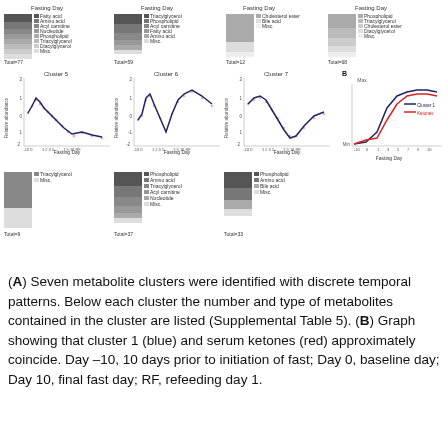[Figure (other): Complex multi-panel figure showing seven metabolite cluster line charts with scatter overlays (Clusters 5, 6, 7 shown in bottom row), stacked bar charts showing metabolite composition below each cluster, and a panel B showing cluster 1 (blue) vs serum ketones (red) line graph over fasting days. Multiple sub-panels arranged in a grid.]
(A) Seven metabolite clusters were identified with discrete temporal patterns. Below each cluster the number and type of metabolites contained in the cluster are listed (Supplemental Table 5). (B) Graph showing that cluster 1 (blue) and serum ketones (red) approximately coincide. Day −10, 10 days prior to initiation of fast; Day 0, baseline day; Day 10, final fast day; RF, refeeding day 1.